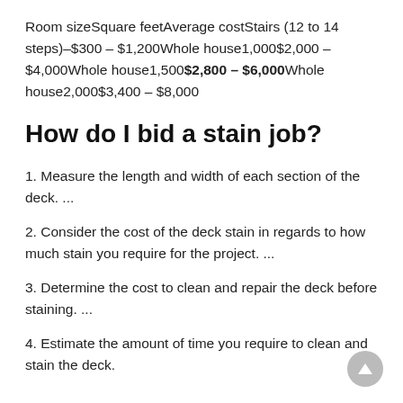| Room size | Square feet | Average cost |
| --- | --- | --- |
| Stairs (12 to 14 steps) | – | $300 – $1,200 |
| Whole house | 1,000 | $2,000 – $4,000 |
| Whole house | 1,500 | $2,800 – $6,000 |
| Whole house | 2,000 | $3,400 – $8,000 |
How do I bid a stain job?
1. Measure the length and width of each section of the deck. ...
2. Consider the cost of the deck stain in regards to how much stain you require for the project. ...
3. Determine the cost to clean and repair the deck before staining. ...
4. Estimate the amount of time you require to clean and stain the deck.